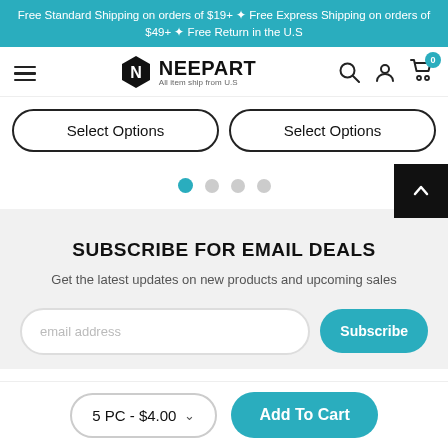Free Standard Shipping on orders of $19+ ✦ Free Express Shipping on orders of $49+ ✦ Free Return in the U.S
[Figure (logo): NEEPART logo with hexagonal N icon and tagline 'All item ship from U.S']
Select Options  Select Options
[Figure (other): Pagination dots: 1 active teal dot and 3 inactive grey dots]
SUBSCRIBE FOR EMAIL DEALS
Get the latest updates on new products and upcoming sales
email address input field and Subscribe button
5 PC - $4.00   Add To Cart